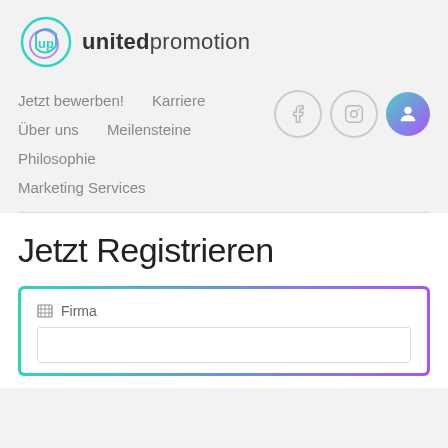[Figure (logo): United Promotion logo with teal/purple circular 'up' icon and text 'unitedpromotion']
Jetzt bewerben!    Karriere
Über uns    Meilensteine
Philosophie
Marketing Services
Jetzt Registrieren
Firma